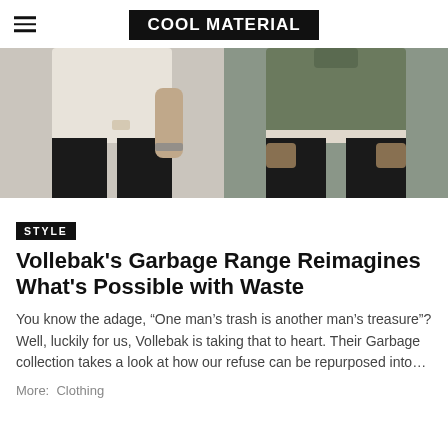COOL MATERIAL
[Figure (photo): Two men wearing casual knitwear clothing against a grey background. Left image shows a man in a cream/off-white sweater with black pants. Right image shows a man in an olive/green sweater with black pants.]
STYLE
Vollebak's Garbage Range Reimagines What's Possible with Waste
You know the adage, “One man’s trash is another man’s treasure”? Well, luckily for us, Vollebak is taking that to heart. Their Garbage collection takes a look at how our refuse can be repurposed into…
More:  Clothing